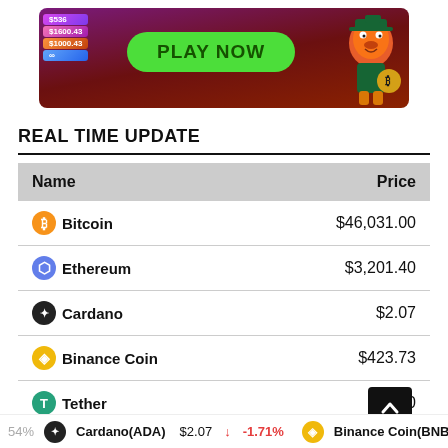[Figure (illustration): Casino/gambling advertisement banner with 'PLAY NOW' green button and cartoon mascot character holding a Bitcoin bag, with playing cards on dark red/purple background]
REAL TIME UPDATE
| Name | Price |
| --- | --- |
| Bitcoin | $46,031.00 |
| Ethereum | $3,201.40 |
| Cardano | $2.07 |
| Binance Coin | $423.73 |
| Tether | $1.00 |
| XRP | $1.19 |
54%  Cardano(ADA) $2.07 ↓ -1.71%  Binance Coin(BNB)